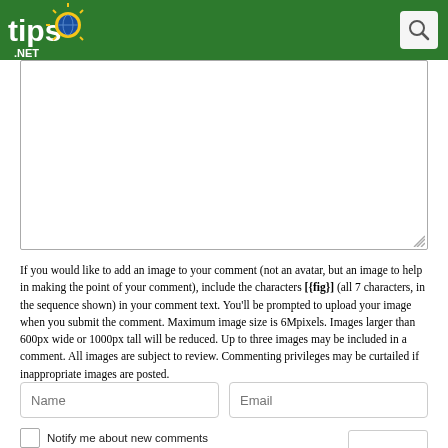tips.net
[Figure (screenshot): Empty textarea/comment input box with resize handle]
If you would like to add an image to your comment (not an avatar, but an image to help in making the point of your comment), include the characters [{fig}] (all 7 characters, in the sequence shown) in your comment text. You'll be prompted to upload your image when you submit the comment. Maximum image size is 6Mpixels. Images larger than 600px wide or 1000px tall will be reduced. Up to three images may be included in a comment. All images are subject to review. Commenting privileges may be curtailed if inappropriate images are posted.
Name
Email
Notify me about new comments ONLY FOR THIS TIP
What is 6 + 2?
Notify me about new comments